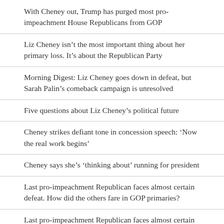With Cheney out, Trump has purged most pro-impeachment House Republicans from GOP
Liz Cheney isn’t the most important thing about her primary loss. It’s about the Republican Party
Morning Digest: Liz Cheney goes down in defeat, but Sarah Palin’s comeback campaign is unresolved
Five questions about Liz Cheney’s political future
Cheney strikes defiant tone in concession speech: ‘Now the real work begins’
Cheney says she’s ‘thinking about’ running for president
Last pro-impeachment Republican faces almost certain defeat. How did the others fare in GOP primaries?
Last pro-impeachment Republican faces almost certain defeat. How did the others fare in GOP primaries?